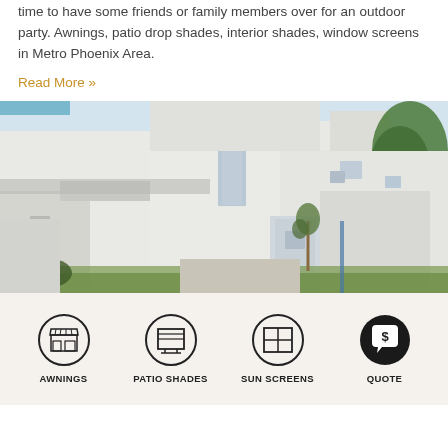time to have some friends or family members over for an outdoor party. Awnings, patio drop shades, interior shades, window screens in Metro Phoenix Area.
Read More »
[Figure (photo): Exterior view of a modern white minimalist house with flat roof, small windows, a small tree, and green lawn in front]
[Figure (infographic): Bottom navigation bar with four icons: Awnings (store/shop icon), Patio Shades (screen/blind icon), Sun Screens (window grid icon), Quote (speech bubble with dollar sign). Icons are circular with dark outlines.]